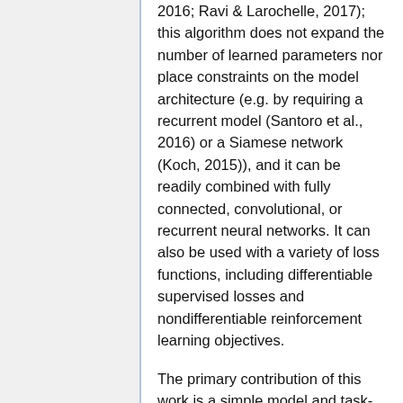2016; Ravi & Larochelle, 2017); this algorithm does not expand the number of learned parameters nor place constraints on the model architecture (e.g. by requiring a recurrent model (Santoro et al., 2016) or a Siamese network (Koch, 2015)), and it can be readily combined with fully connected, convolutional, or recurrent neural networks. It can also be used with a variety of loss functions, including differentiable supervised losses and nondifferentiable reinforcement learning objectives.
The primary contribution of this work is a simple model and task-agnostic algorithm for meta-learning that trains a model's parameters such that a small number of gradient updates will lead to fast learning on a new task. The paper